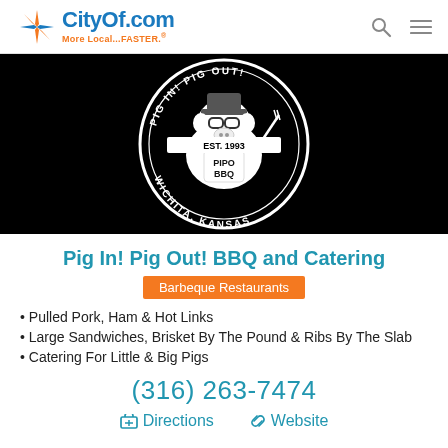CityOf.com More Local...FASTER.
[Figure (logo): Pig In! Pig Out! BBQ circular logo with cartoon pig chef, EST. 1993, PIPO BBQ, Wichita Kansas, on black background]
Pig In! Pig Out! BBQ and Catering
Barbeque Restaurants
Pulled Pork, Ham & Hot Links
Large Sandwiches, Brisket By The Pound & Ribs By The Slab
Catering For Little & Big Pigs
(316) 263-7474
Directions   Website